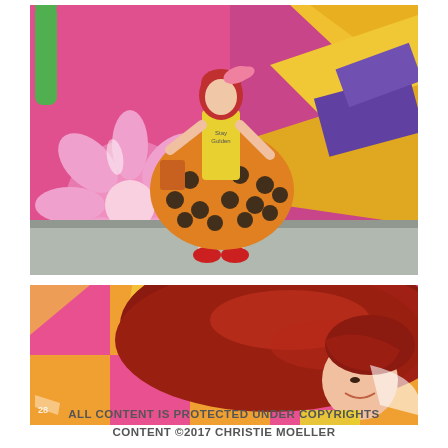[Figure (photo): A woman wearing a yellow 'Stay Golden' graphic top and an orange polka-dot skirt, standing in front of a colorful graffiti mural wall featuring pink flowers and abstract patterns. She has red hair with a pink bow and wears red heeled sandals.]
[Figure (photo): A close-up of the same woman with long red hair, head tilted down and looking to the side, smiling. Background is the same colorful pink and orange checkered graffiti mural wall.]
ALL CONTENT IS PROTECTED UNDER COPYRIGHTS CONTENT ©2017 CHRISTIE MOELLER